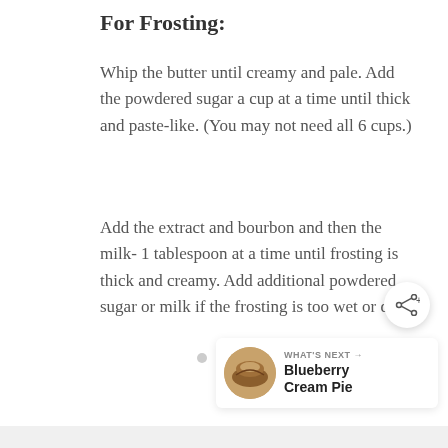For Frosting:
Whip the butter until creamy and pale. Add the powdered sugar a cup at a time until thick and paste-like. (You may not need all 6 cups.)
Add the extract and bourbon and then the milk- 1 tablespoon at a time until frosting is thick and creamy. Add additional powdered sugar or milk if the frosting is too wet or dry.
[Figure (other): Three pagination dots and a share icon button]
[Figure (other): What's Next panel showing a Blueberry Cream Pie thumbnail with label 'WHAT'S NEXT' and title 'Blueberry Cream Pie']